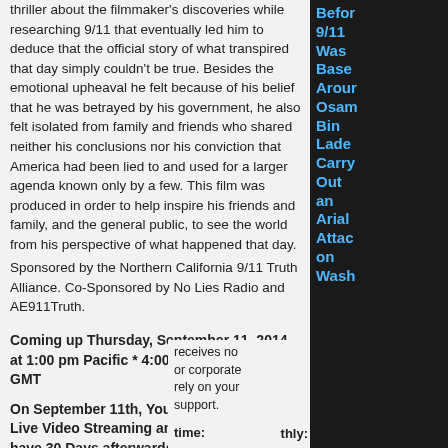thriller about the filmmaker's discoveries while researching 9/11 that eventually led him to deduce that the official story of what transpired that day simply couldn't be true. Besides the emotional upheaval he felt because of his belief that he was betrayed by his government, he also felt isolated from family and friends who shared neither his conclusions nor his conviction that America had been lied to and used for a larger agenda known only by a few. This film was produced in order to help inspire his friends and family, and the general public, to see the world from his perspective of what happened that day.
Sponsored by the Northern California 9/11 Truth Alliance. Co-Sponsored by No Lies Radio and AE911Truth.
Coming up Thursday, September 11, 2014 at 1:00 pm Pacific * 4:00 pm Eastern * 08:00 GMT
On September 11th, You Get 10 Hours of Live Video Streaming and then you will have 30 Days afterwards to watch the Video Archives of the Films and the Speakers.
Landmark 9/11 Event to be Live Video Streamed Sept. 11th
Please make a donation to receive your web-stream pass.
receives no or corporate rely on your support.
time:
Donate
thly:
Before 9/11 Was Based Around Osama Bin Laden Carry Out an Aerial Attack on Wash